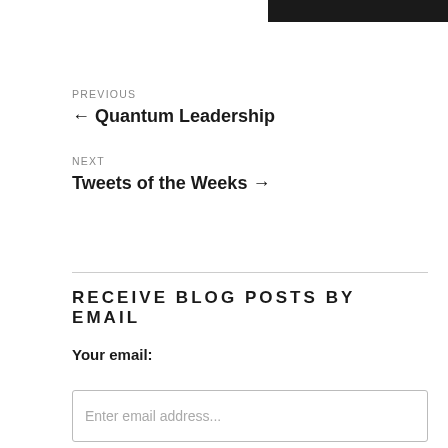[Figure (other): Black bar at top right corner of page]
PREVIOUS
← Quantum Leadership
NEXT
Tweets of the Weeks →
RECEIVE BLOG POSTS BY EMAIL
Your email:
Enter email address...